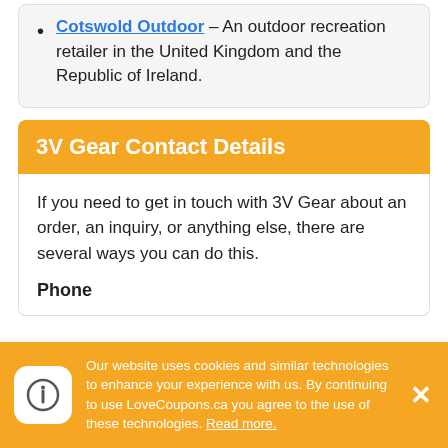Cotswold Outdoor – An outdoor recreation retailer in the United Kingdom and the Republic of Ireland.
3V Gear Contact Details
If you need to get in touch with 3V Gear about an order, an inquiry, or anything else, there are several ways you can do this.
Phone
Our website uses cookies and similar technologies to enhance your experience with us. By continuing to use LoveCoupons.ca you agree to the use of these technologies. Read more.